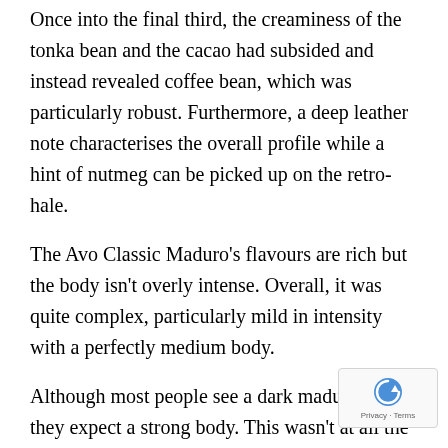Once into the final third, the creaminess of the tonka bean and the cacao had subsided and instead revealed coffee bean, which was particularly robust. Furthermore, a deep leather note characterises the overall profile while a hint of nutmeg can be picked up on the retro-hale.
The Avo Classic Maduro's flavours are rich but the body isn't overly intense. Overall, it was quite complex, particularly mild in intensity with a perfectly medium body.
Although most people see a dark maduro cigar, they expect a strong body. This wasn't at all the case here. Instead, it offers a very smooth mouthfeel that evenly distributes the stimulation across the whole palate and a nice balanced dryness.